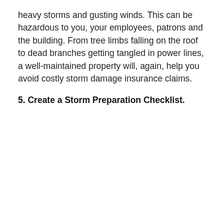heavy storms and gusting winds. This can be hazardous to you, your employees, patrons and the building. From tree limbs falling on the roof to dead branches getting tangled in power lines, a well-maintained property will, again, help you avoid costly storm damage insurance claims.
5. Create a Storm Preparation Checklist.